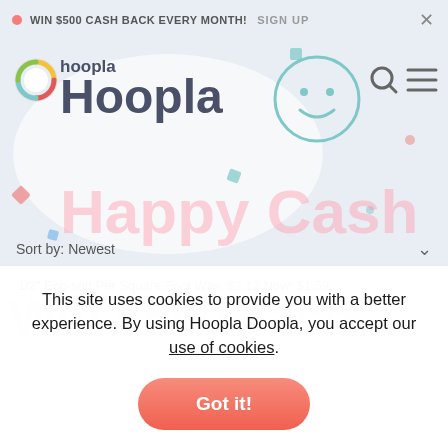WIN $500 CASH BACK EVERY MONTH! SIGN UP ×
[Figure (logo): Hoopla Doopla logo with rainbow circle icon, smiley face circle, and text 'hoopla Hoopla Happy Cash' with Sort by: Newest dropdown]
1/2" Eco-soft Per Square Foot Was: $2.12 Now: $1.59.
Win $500 cash
This site uses cookies to provide you with a better experience. By using Hoopla Doopla, you accept our use of cookies.
Got it!